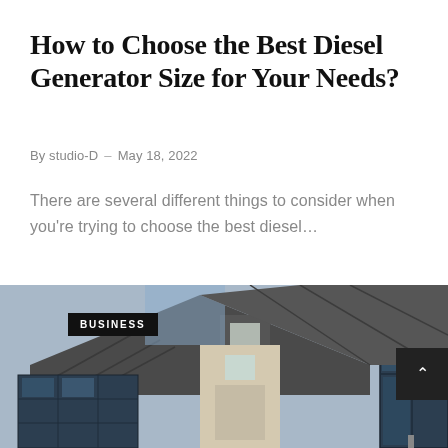How to Choose the Best Diesel Generator Size for Your Needs?
By studio-D  –  May 18, 2022
There are several different things to consider when you're trying to choose the best diesel…
[Figure (photo): Photo of a house with solar panels on the roof and a standalone solar panel on the right side. A black 'BUSINESS' label badge is overlaid on the upper left of the image. A dark scroll-up button with an upward chevron arrow is on the right edge.]